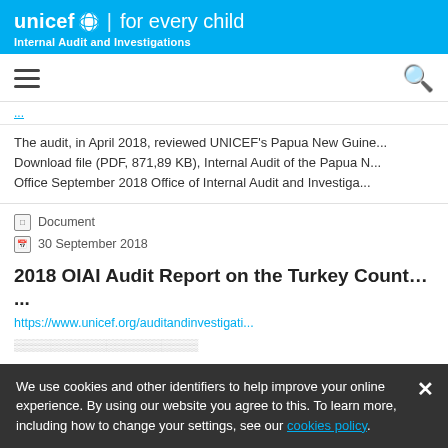unicef for every child | Internal Audit and Investigations
The audit, in April 2018, reviewed UNICEF's Papua New Guinea... Download file (PDF, 871,89 KB), Internal Audit of the Papua N... Office September 2018 Office of Internal Audit and Investiga...
Document
30 September 2018
2018 OIAI Audit Report on the Turkey Country Of...
https://www.unicef.org/auditandinvestigati...
We use cookies and other identifiers to help improve your online experience. By using our website you agree to this. To learn more, including how to change your settings, see our cookies policy.